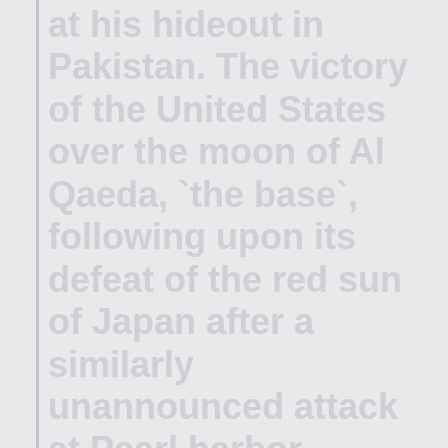at his hideout in Pakistan. The victory of the United States over the moon of Al Qaeda, `the base`, following upon its defeat of the red sun of Japan after a similarly unannounced attack at Pearl harbor, Hawaii, to disable the Pacific fleet on 7 December, 1941, represented the success of the woman, symbolized by the statue of `Liberty` in New York harbor, after the death of the terrorist leader who`d attacked New York on 9/11, 2001. With the moon reflected in her birth waters as